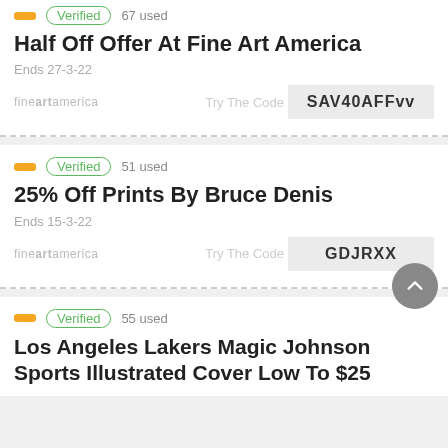Verified  67 used
Half Off Offer At Fine Art America
Ends 27-3-22
Try The Code  SAV40AFFvv
Verified  51 used
25% Off Prints By Bruce Denis
Ends 15-3-22
Try The Code  GDJRXX
Verified  55 used
Los Angeles Lakers Magic Johnson Sports Illustrated Cover Low To $25